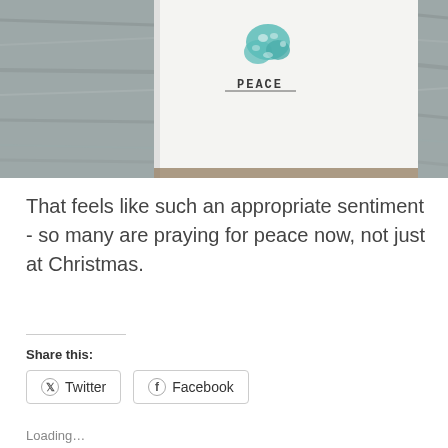[Figure (photo): A Christmas greeting card showing a teal snowflake design and the word PEACE printed in typewriter font, placed on a grey wooden surface]
That feels like such an appropriate sentiment - so many are praying for peace now, not just at Christmas.
Share this:
Twitter
Facebook
Loading...